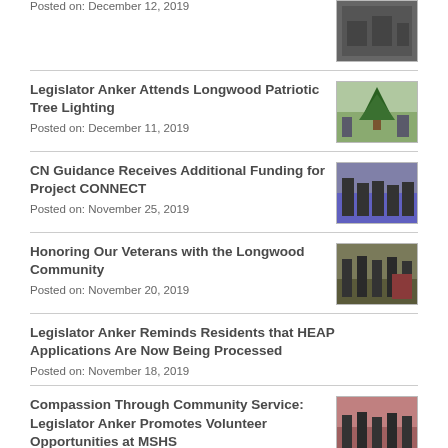Posted on: December 12, 2019
Legislator Anker Attends Longwood Patriotic Tree Lighting
Posted on: December 11, 2019
CN Guidance Receives Additional Funding for Project CONNECT
Posted on: November 25, 2019
Honoring Our Veterans with the Longwood Community
Posted on: November 20, 2019
Legislator Anker Reminds Residents that HEAP Applications Are Now Being Processed
Posted on: November 18, 2019
Compassion Through Community Service: Legislator Anker Promotes Volunteer Opportunities at MSHS